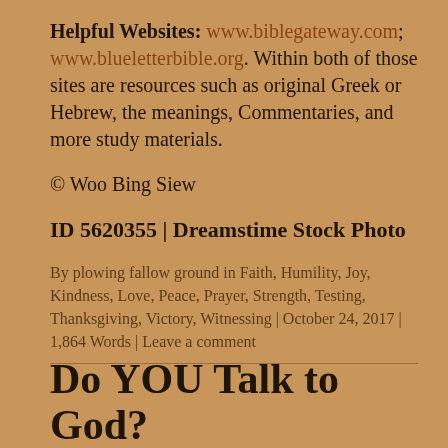Helpful Websites: www.biblegateway.com; www.blueletterbible.org. Within both of those sites are resources such as original Greek or Hebrew, the meanings, Commentaries, and more study materials.
© Woo Bing Siew
ID 5620355 | Dreamstime Stock Photo
By plowing fallow ground in Faith, Humility, Joy, Kindness, Love, Peace, Prayer, Strength, Testing, Thanksgiving, Victory, Witnessing | October 24, 2017 | 1,864 Words | Leave a comment
Do YOU Talk to God?